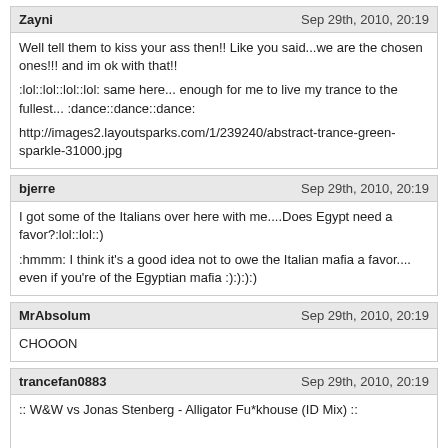Zayni | Sep 29th, 2010, 20:19
Well tell them to kiss your ass then!! Like you said...we are the chosen ones!!! and im ok with that!!

:lol::lol::lol::lol: same here... enough for me to live my trance to the fullest... :dance::dance::dance:

http://images2.layoutsparks.com/1/239240/abstract-trance-green-sparkle-31000.jpg
bjerre | Sep 29th, 2010, 20:19
I got some of the Italians over here with me....Does Egypt need a favor?:lol::lol::)

:hmmm: I think it's a good idea not to owe the Italian mafia a favor.... even if you're of the Egyptian mafia :):):):)
MrAbsolum | Sep 29th, 2010, 20:19
CHOOON
trancefan0883 | Sep 29th, 2010, 20:19
:: W&W vs Jonas Stenberg - Alligator Fu*khouse (ID Mix) ::

W&W
W&W (http://www.discogs.com/artist/W%26W)Discography at Discogs :book: